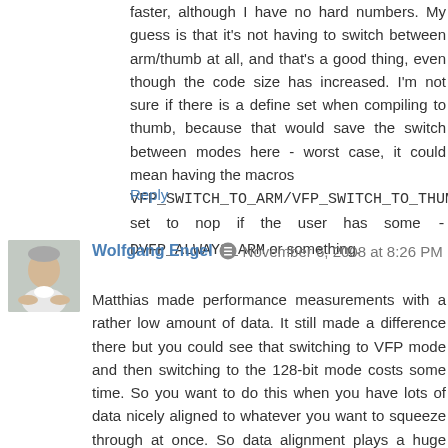faster, although I have no hard numbers. My guess is that it's not having to switch between arm/thumb at all, and that's a good thing, even though the code size has increased. I'm not sure if there is a define set when compiling to thumb, because that would save the switch between modes here - worst case, it could mean having the macros VFP_SWITCH_TO_ARM/VFP_SWITCH_TO_THUMB set to nop if the user has some -DVFP_ALWAYS_ARM or something.
Reply
Wolfgang Engel  November 6, 2008 at 8:26 PM
Matthias made performance measurements with a rather low amount of data. It still made a difference there but you could see that switching to VFP mode and then switching to the 128-bit mode costs some time. So you want to do this when you have lots of data nicely aligned to whatever you want to squeeze through at once. So data alignment plays a huge role. I believe that with the right data you can reach easily 4 - 5 time speed-ups.